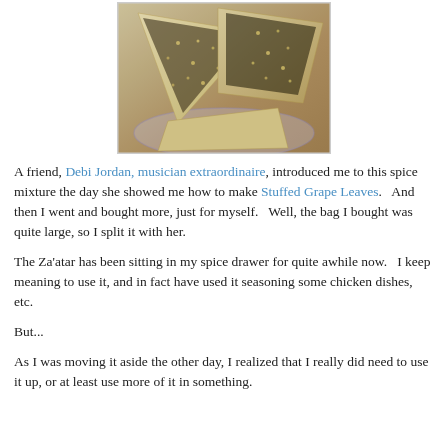[Figure (photo): Flatbread pieces topped with za'atar spice mixture (dark herb and sesame seed blend) on a decorative plate]
A friend, Debi Jordan, musician extraordinaire, introduced me to this spice mixture the day she showed me how to make Stuffed Grape Leaves.   And then I went and bought more, just for myself.   Well, the bag I bought was quite large, so I split it with her.
The Za'atar has been sitting in my spice drawer for quite awhile now.   I keep meaning to use it, and in fact have used it seasoning some chicken dishes, etc.
But...
As I was moving it aside the other day, I realized that I really did need to use it up, or at least use more of it in something.